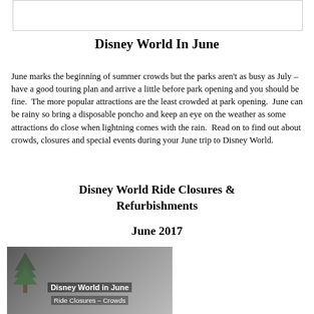[Figure (other): Top decorative/header image placeholder box (white box with border)]
Disney World In June
June marks the beginning of summer crowds but the parks aren't as busy as July – have a good touring plan and arrive a little before park opening and you should be fine.  The more popular attractions are the least crowded at park opening.  June can be rainy so bring a disposable poncho and keep an eye on the weather as some attractions do close when lightning comes with the rain.  Read on to find out about crowds, closures and special events during your June trip to Disney World.
Disney World Ride Closures & Refurbishments
June 2017
[Figure (photo): Photo of Disney World in June sign with text overlays: 'Disney World in June' and 'Ride Closures – Crowds']